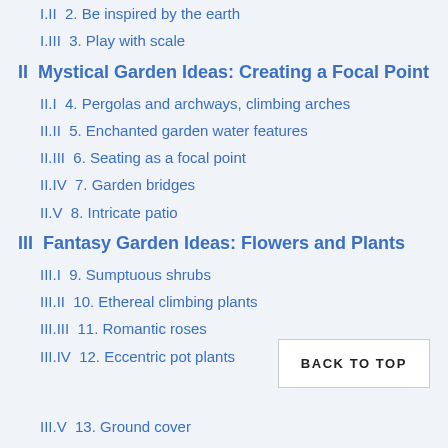I.II  2. Be inspired by the earth
I.III  3. Play with scale
II  Mystical Garden Ideas: Creating a Focal Point
II.I  4. Pergolas and archways, climbing arches
II.II  5. Enchanted garden water features
II.III  6. Seating as a focal point
II.IV  7. Garden bridges
II.V  8. Intricate patio
III  Fantasy Garden Ideas: Flowers and Plants
III.I  9. Sumptuous shrubs
III.II  10. Ethereal climbing plants
III.III  11. Romantic roses
III.IV  12. Eccentric pot plants
III.V  13. Ground cover